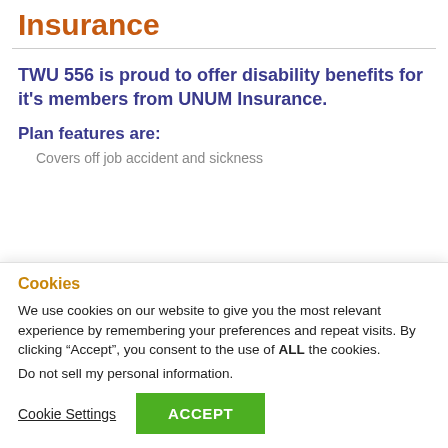Insurance
TWU 556 is proud to offer disability benefits for it's members from UNUM Insurance.
Plan features are:
Covers off job accident and sickness
Cookies
We use cookies on our website to give you the most relevant experience by remembering your preferences and repeat visits. By clicking “Accept”, you consent to the use of ALL the cookies.
Do not sell my personal information.
Cookie Settings  ACCEPT